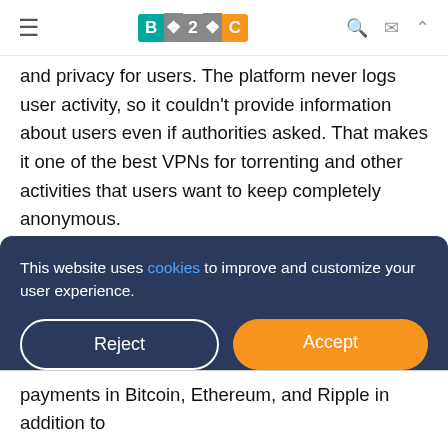B2C logo with hamburger menu and search/mail/up icons
and privacy for users. The platform never logs user activity, so it couldn't provide information about users even if authorities asked. That makes it one of the best VPNs for torrenting and other activities that users want to keep completely anonymous.
In addition, NordVPN offers advanced features like split tunneling, which enables users to apply their VPN connection only to a browser rather than to an entire device. The platform also offers two-factor authentication,
This website uses cookies to improve and customize your user experience.
payments in Bitcoin, Ethereum, and Ripple in addition to